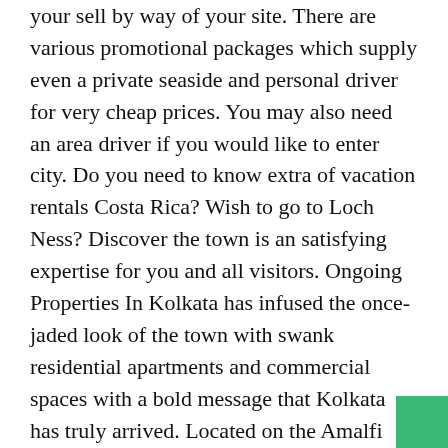your sell by way of your site. There are various promotional packages which supply even a private seaside and personal driver for very cheap prices. You may also need an area driver if you would like to enter city. Do you need to know extra of vacation rentals Costa Rica? Wish to go to Loch Ness? Discover the town is an satisfying expertise for you and all visitors. Ongoing Properties In Kolkata has infused the once-jaded look of the town with swank residential apartments and commercial spaces with a bold message that Kolkata has truly arrived. Located on the Amalfi coast, Positano is well-known for the attractive vacation villa rentals and apartments that overlook the clear blue sea and the vibrant bougainvilleas. 3,500 per week. Imagine you'll be able to have a good sight with these lovely white beaches which will bring your family the refreshing sea breezes.

4,500 a week. They're identified for their mesmerizing